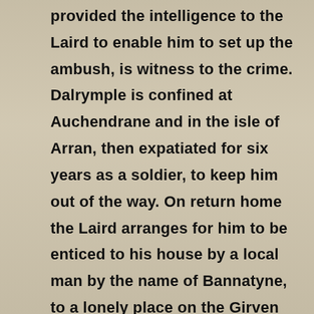provided the intelligence to the Laird to enable him to set up the ambush, is witness to the crime. Dalrymple is confined at Auchendrane and in the isle of Arran, then expatiated for six years as a soldier, to keep him out of the way. On return home the Laird arranges for him to be enticed to his house by a local man by the name of Bannatyne, to a lonely place on the Girven shore, and there the Laird and his accomplices murder him at midnight, burying his body in the sand. Later, the corpse, unearthed by the tide and brought back from sea by the waves to the very spot where the murder took place, brings suspicion upon the Laird and his accomplices